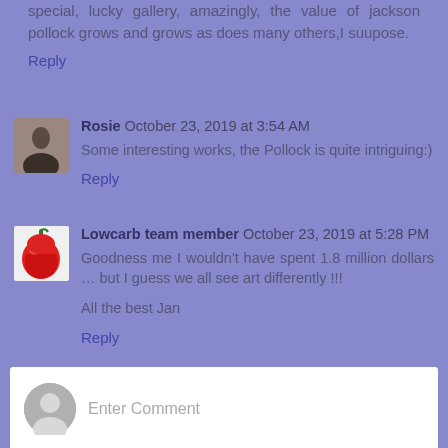special, lucky gallery, amazingly, the value of jackson pollock grows and grows as does many others,I suupose.
Reply
Rosie  October 23, 2019 at 3:54 AM
Some interesting works, the Pollock is quite intriguing:)
Reply
Lowcarb team member  October 23, 2019 at 5:28 PM
Goodness me I wouldn't have spent 1.8 million dollars … but I guess we all see art differently !!!
All the best Jan
Reply
Enter Comment